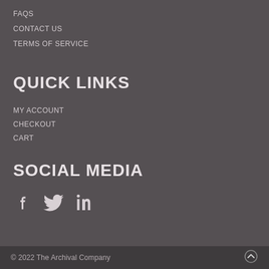FAQS
CONTACT US
TERMS OF SERVICE
QUICK LINKS
MY ACCOUNT
CHECKOUT
CART
SOCIAL MEDIA
[Figure (other): Social media icons: Facebook, Twitter, LinkedIn]
© 2022 The Archival Company